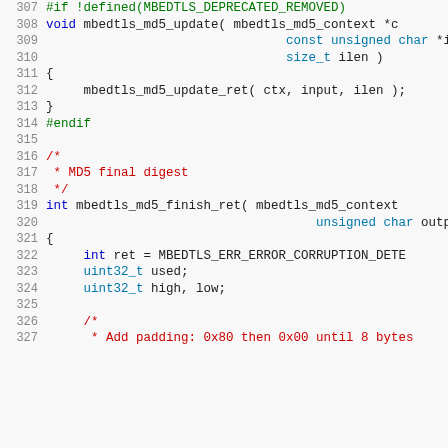307  #if !defined(MBEDTLS_DEPRECATED_REMOVED)
308  void mbedtls_md5_update( mbedtls_md5_context *c
309                                const unsigned char *i
310                                size_t ilen )
311  {
312       mbedtls_md5_update_ret( ctx, input, ilen );
313  }
314  #endif
315
316  /*
317   * MD5 final digest
318   */
319  int mbedtls_md5_finish_ret( mbedtls_md5_context
320                                    unsigned char outpu
321  {
322       int ret = MBEDTLS_ERR_ERROR_CORRUPTION_DETE
323       uint32_t used;
324       uint32_t high, low;
325
326       /*
327        * Add padding: 0x80 then 0x00 until 8 bytes